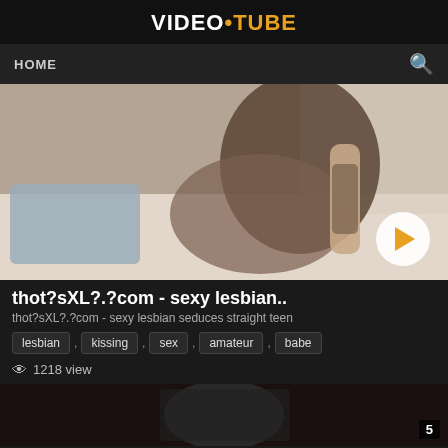VIDEC•TUBE
HOME
[Figure (screenshot): Video thumbnail showing two women on a white couch, one with tattoos, indoor setting with curtains in background. Play button overlay in bottom right corner.]
thot?sXL?.?com - sexy lesbian..
thot?sXL?.?com - sexy lesbian seduces straight teen
lesbian , kissing , sex , amateur , babe
1218 view
[Figure (screenshot): Partial video thumbnail, mostly dark/silhouette, with badge showing number 5 in bottom right corner.]